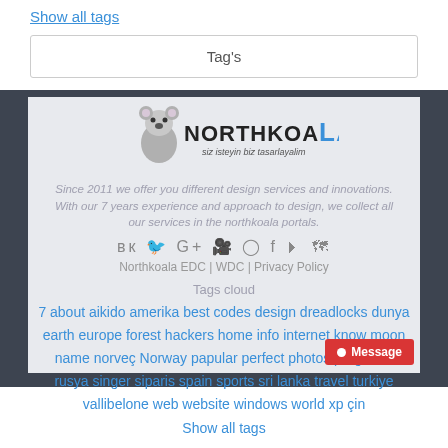Show all tags
Tag's
[Figure (logo): NorthKoala logo with koala bear illustration and text 'NORTHKOALA siz isteyin biz tasarlayalim']
Since 2011 we offer you different design services and innovations. With our 7 years experience and approach to design, we collect all our services in the northkoala portals.
Social media icons: vk twitter google+ youtube instagram facebook rss map
Northkoala EDC | WDC | Privacy Policy
Tags cloud
7 about aikido amerika best codes design dreadlocks dunya earth europe forest hackers home info internet know moon name norveç Norway papular perfect photos programs rusya singer siparis spain sports sri lanka travel turkiye vallibelone web website windows world xp çin
Show all tags